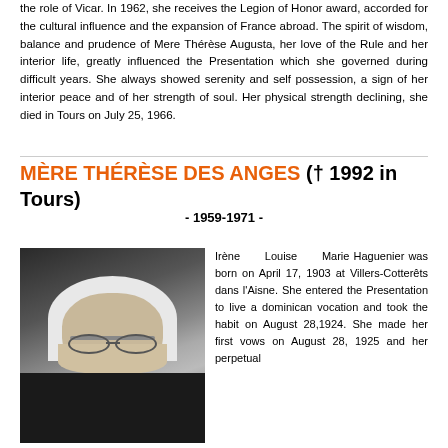the role of Vicar. In 1962, she receives the Legion of Honor award, accorded for the cultural influence and the expansion of France abroad. The spirit of wisdom, balance and prudence of Mere Thérèse Augusta, her love of the Rule and her interior life, greatly influenced the Presentation which she governed during difficult years. She always showed serenity and self possession, a sign of her interior peace and of her strength of soul. Her physical strength declining, she died in Tours on July 25, 1966.
MÈRE THÉRÈSE DES ANGES († 1992 in Tours)
- 1959-1971 -
[Figure (photo): Black and white portrait photograph of a nun wearing a white wimple and dark habit with glasses]
Irène Louise Marie Haguenier was born on April 17, 1903 at Villers-Cotterêts dans l'Aisne. She entered the Presentation to live a dominican vocation and took the habit on August 28,1924. She made her first vows on August 28, 1925 and her perpetual